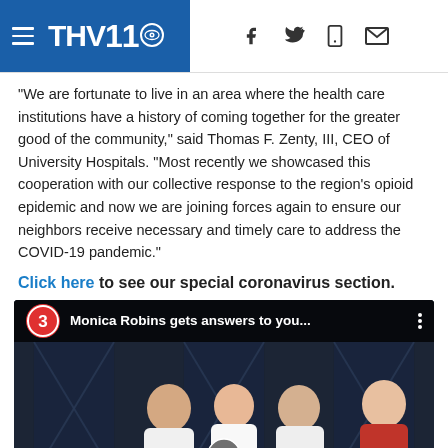THV11 (CBS affiliate) website header with navigation hamburger menu and social/utility icons
“We are fortunate to live in an area where the health care institutions have a history of coming together for the greater good of the community,” said Thomas F. Zenty, III, CEO of University Hospitals. “Most recently we showcased this cooperation with our collective response to the region’s opioid epidemic and now we are joining forces again to ensure our neighbors receive necessary and timely care to address the COVID-19 pandemic.”
Click here to see our special coronavirus section.
[Figure (screenshot): Embedded YouTube video thumbnail showing a panel of three women in white lab coats seated at a table on a dark stage, with a fourth woman in a red top standing at right. The video title bar reads 'Monica Robins gets answers to you...' with a red circle numbered 3 badge. A play button is visible at the bottom center.]